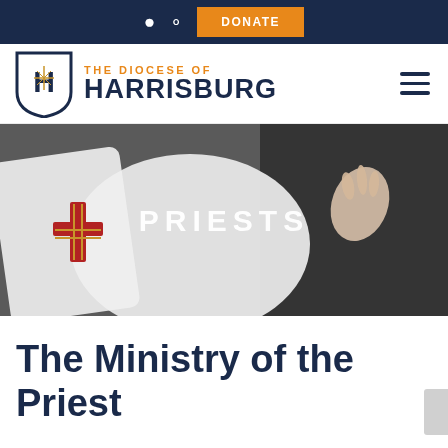DONATE
[Figure (logo): The Diocese of Harrisburg shield logo with letter H and cross, navy blue and gold]
THE DIOCESE OF HARRISBURG
[Figure (photo): A Catholic priest in white vestments with a red cross emblem raising his hand during a ceremony, with the word PRIESTS overlaid in white capital letters]
The Ministry of the Priest